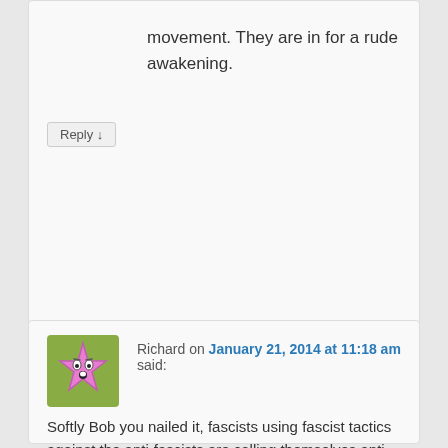movement. They are in for a rude awakening.
Reply ↓
Richard on January 21, 2014 at 11:18 am said:
Softly Bob you nailed it, fascists using fascist tactics against the anti-fascists are calling themselves anti-fascists and the semi educated of the world believe them.
Reply ↓